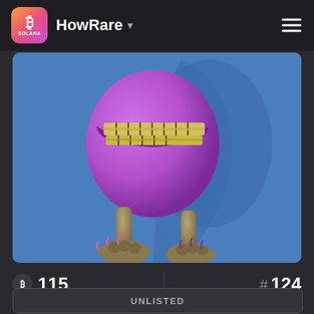HowRare
[Figure (illustration): 3D rendered purple monster character with large gold braces/teeth grill smile, thin creature legs with clawed feet and purple painted toenails, standing on blue background with shadow behind it. No head visible, just the body/mouth area down to feet.]
R 115
# 124
UNLISTED